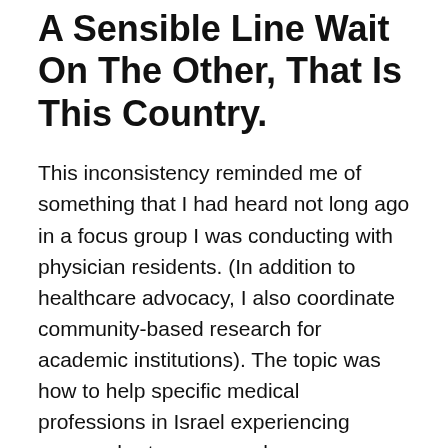A Sensible Line Wait On The Other, That Is This Country.
This inconsistency reminded me of something that I had heard not long ago in a focus group I was conducting with physician residents. (In addition to healthcare advocacy, I also coordinate community-based research for academic institutions). The topic was how to help specific medical professions in Israel experiencing severe shortages: namely, emergency medicine, geriatrics, anesthesiology, and family medicine in the periphery. I brought several examples of other countries and how they have addressed these shortages and asked the group whether they felt these programs would work in Israel.
One resident summed up everyone’s feeling quite clearly. “This is not Scandinavia. That would not work in Israel. I